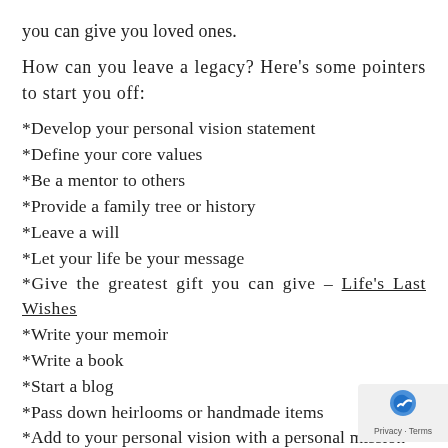you can give you loved ones.
How can you leave a legacy? Here's some pointers to start you off:
*Develop your personal vision statement
*Define your core values
*Be a mentor to others
*Provide a family tree or history
*Leave a will
*Let your life be your message
*Give the greatest gift you can give – Life's Last Wishes
*Write your memoir
*Write a book
*Start a blog
*Pass down heirlooms or handmade items
*Add to your personal vision with a personal mission statement
*Support the people and causes that are